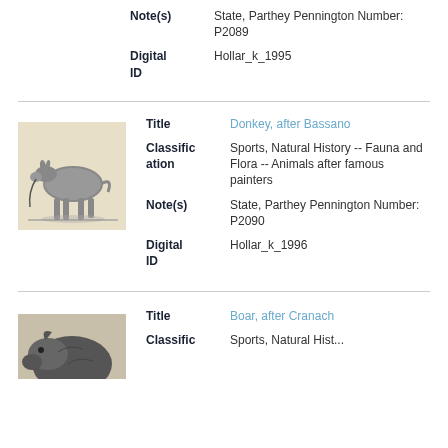Note(s): State, Parthey Pennington Number: P2089
Digital ID: Hollar_k_1995
[Figure (photo): Etching of a donkey standing in profile, after Bassano]
Title: Donkey, after Bassano
Classification: Sports, Natural History -- Fauna and Flora -- Animals after famous painters
Note(s): State, Parthey Pennington Number: P2090
Digital ID: Hollar_k_1996
[Figure (photo): Partial image of a boar, after Cranach]
Title: Boar, after Cranach
Classification: Sports, Natural Hist...